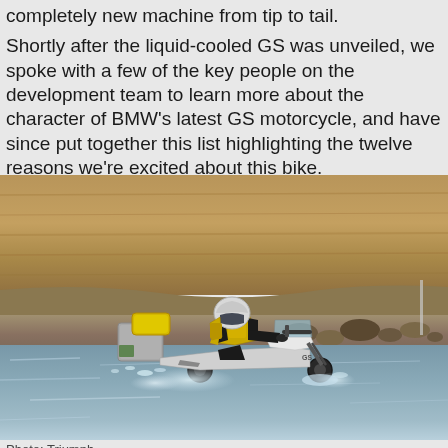completely new machine from tip to tail. Shortly after the liquid-cooled GS was unveiled, we spoke with a few of the key people on the development team to learn more about the character of BMW's latest GS motorcycle, and have since put together this list highlighting the twelve reasons we're excited about this bike.
[Figure (photo): A rider in yellow and black gear on a fully-loaded BMW GS adventure motorcycle riding through shallow water, with a rocky cliff face in the background and stones/gravel in the midground.]
Photo: Triumph...